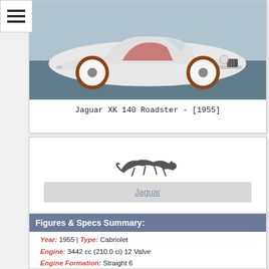[Figure (photo): White Jaguar XK 140 Roadster classic sports car, front three-quarter view, photographed outdoors near water]
Jaguar XK 140 Roadster - [1955]
[Figure (logo): Jaguar leaping cat logo in silver/chrome]
Jaguar
Figures & Specs Summary:
Year: 1955 | Type: Cabriolet
Engine: 3442 cc (210.0 ci) 12 Valve
Engine Formation: Straight 6
Aspiration: Naturally Aspirated
Fuel Type: Petrol